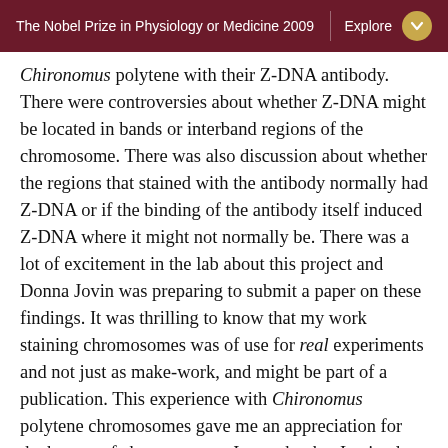The Nobel Prize in Physiology or Medicine 2009   Explore
Chironomus polytene with their Z-DNA antibody. There were controversies about whether Z-DNA might be located in bands or interband regions of the chromosome. There was also discussion about whether the regions that stained with the antibody normally had Z-DNA or if the binding of the antibody itself induced Z-DNA where it might not normally be. There was a lot of excitement in the lab about this project and Donna Jovin was preparing to submit a paper on these findings. It was thrilling to know that my work staining chromosomes was of use for real experiments and not just as make-work, and might be part of a publication. This experience with Chironomus polytene chromosomes gave me an appreciation for the beauty of chromosomes. It may be that I gained an affection for chromosomes that I brought with me several years later when I